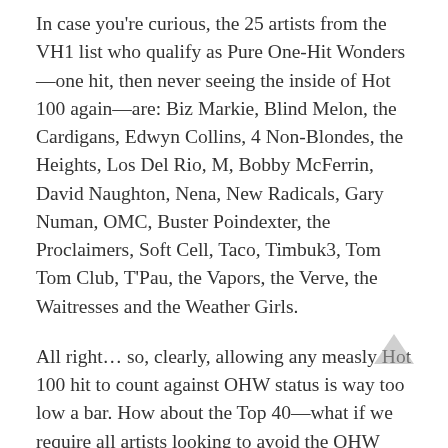In case you're curious, the 25 artists from the VH1 list who qualify as Pure One-Hit Wonders—one hit, then never seeing the inside of Hot 100 again—are: Biz Markie, Blind Melon, the Cardigans, Edwyn Collins, 4 Non-Blondes, the Heights, Los Del Rio, M, Bobby McFerrin, David Naughton, Nena, New Radicals, Gary Numan, OMC, Buster Poindexter, the Proclaimers, Soft Cell, Taco, Timbuk3, Tom Tom Club, T'Pau, the Vapors, the Verve, the Waitresses and the Weather Girls.
All right… so, clearly, allowing any measly Hot 100 hit to count against OHW status is way too low a bar. How about the Top 40—what if we require all artists looking to avoid the OHW fate to score a second hit that could have been counted down by Casey Kasem?
This rule makes VH1's list look a lot less egregious: